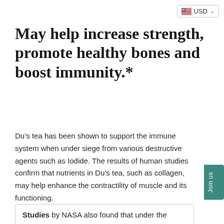[Figure (other): USD currency selector button with US flag icon and dropdown caret in top right corner]
May help increase strength, promote healthy bones and boost immunity.*
Du’s tea has been shown to support the immune system when under siege from various destructive agents such as Iodide. The results of human studies confirm that nutrients in Du’s tea, such as collagen, may help enhance the contractility of muscle and its functioning.
Studies by NASA also found that under the